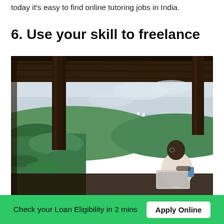today it's easy to find online tutoring jobs in India.
6. Use your skill to freelance
[Figure (photo): A person sitting under a wooden pergola/pavilion with wooden pillars, working on a laptop and holding a phone, with a scenic view of green hills, tropical vegetation, a bay/coastline with white buildings, and a partly cloudy sky in the background.]
Check your Loan Eligibility in 2 mins   Apply Online